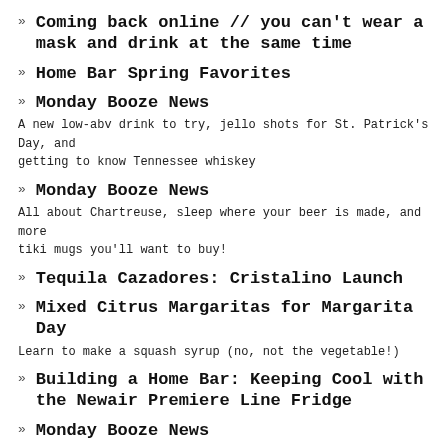Coming back online // you can't wear a mask and drink at the same time
Home Bar Spring Favorites
Monday Booze News
A new low-abv drink to try, jello shots for St. Patrick's Day, and getting to know Tennessee whiskey
Monday Booze News
All about Chartreuse, sleep where your beer is made, and more tiki mugs you'll want to buy!
Tequila Cazadores: Cristalino Launch
Mixed Citrus Margaritas for Margarita Day
Learn to make a squash syrup (no, not the vegetable!)
Building a Home Bar: Keeping Cool with the Newair Premiere Line Fridge
Monday Booze News